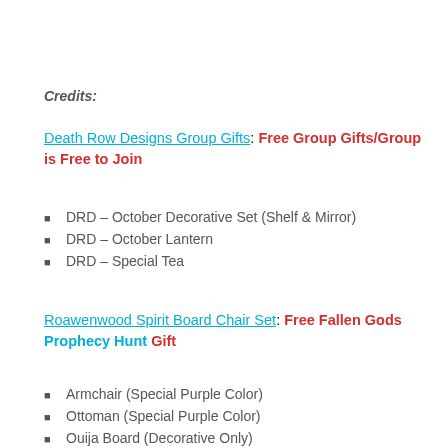Credits:
Death Row Designs Group Gifts: Free Group Gifts/Group is Free to Join
DRD – October Decorative Set (Shelf & Mirror)
DRD – October Lantern
DRD – Special Tea
Roawenwood Spirit Board Chair Set: Free Fallen Gods Prophecy Hunt Gift
Armchair (Special Purple Color)
Ottoman (Special Purple Color)
Ouija Board (Decorative Only)
Spirit Guardian Candle